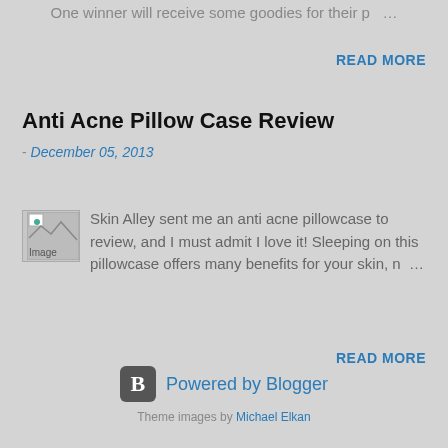One winner will receive some goodies for their p ...
READ MORE
Anti Acne Pillow Case Review
- December 05, 2013
[Figure (photo): Image placeholder for anti acne pillowcase]
Skin Alley sent me an anti acne pillowcase to review, and I must admit I love it! Sleeping on this pillowcase offers many benefits for your skin, n ...
READ MORE
Powered by Blogger
Theme images by Michael Elkan